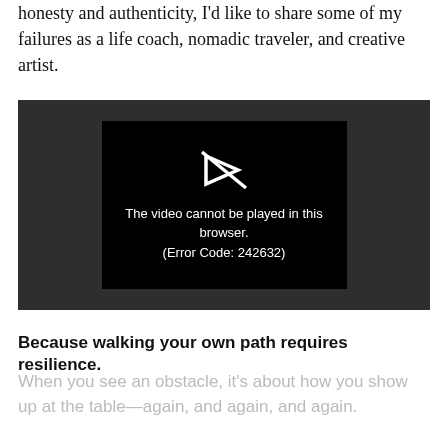honesty and authenticity, I'd like to share some of my failures as a life coach, nomadic traveler, and creative artist.
[Figure (screenshot): Video player showing an error message: 'The video cannot be played in this browser. (Error Code: 242632)' with a crossed-out play button icon on a black background, set within a dark gray video container.]
Because walking your own path requires resilience.
When you see an obstacle, it's about how you show up at the table—again, and again, and again.